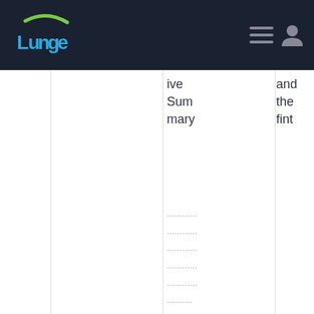Lunge navigation header
ive Summary
and the fint
............
............
............
............
............
..........
Technology and Innovation in Financial Services: Scenarios